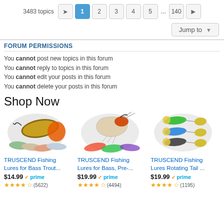3483 topics  1 2 3 4 5 ... 140
Jump to
FORUM PERMISSIONS
You cannot post new topics in this forum
You cannot reply to topics in this forum
You cannot edit your posts in this forum
You cannot delete your posts in this forum
Shop Now
[Figure (photo): TRUSCEND fishing lures for bass trout - soft swim bait fish lures in multiple colors]
[Figure (photo): TRUSCEND fishing lures for bass - pre-rigged jig shrimp lures in multiple colors]
[Figure (photo): TRUSCEND fishing lures rotating tail - spinner blade lures in multiple colors]
TRUSCEND Fishing Lures for Bass Trout...
$14.99 prime
★★★★½ (5622)
TRUSCEND Fishing Lures for Bass, Pre-...
$19.99 prime
★★★★½ (4494)
TRUSCEND Fishing Lures Rotating Tail ...
$19.99 prime
★★★★½ (1195)